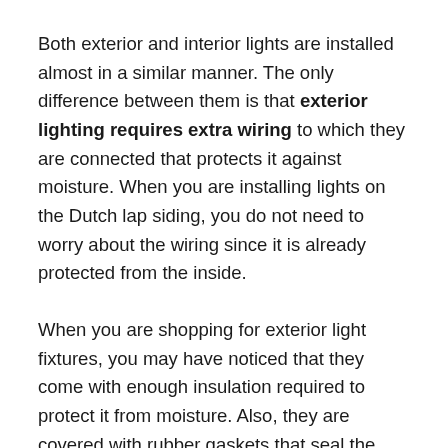Both exterior and interior lights are installed almost in a similar manner. The only difference between them is that exterior lighting requires extra wiring to which they are connected that protects it against moisture. When you are installing lights on the Dutch lap siding, you do not need to worry about the wiring since it is already protected from the inside.
When you are shopping for exterior light fixtures, you may have noticed that they come with enough insulation required to protect it from moisture. Also, they are covered with rubber gaskets that seal the fixture against a flat surface. Even if the gasket does not seal effectively against the Dutch